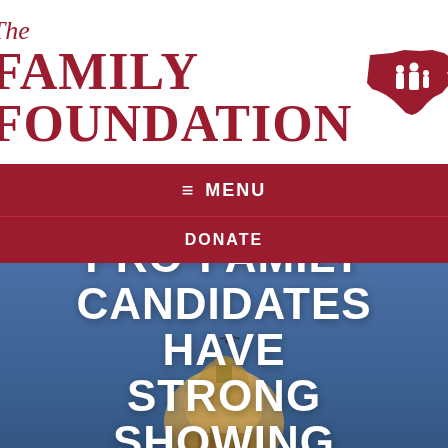[Figure (logo): The Family Foundation logo with Kentucky state silhouette and family figures in dark red/crimson color]
MENU
DONATE
PRO-FAMILY CANDIDATES HAVE STRONG SHOWING IN KENTUCKY PRIMARY